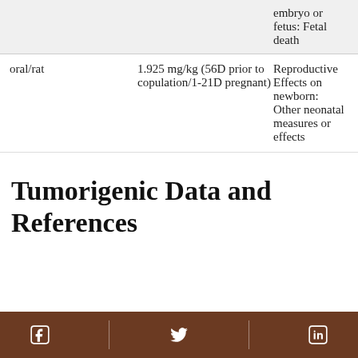| Route/Species | Dose/Duration | Effects |
| --- | --- | --- |
|  |  | embryo or fetus: Fetal death |
| oral/rat | 1.925 mg/kg (56D prior to copulation/1-21D pregnant) | Reproductive Effects on newborn: Other neonatal measures or effects |
Tumorigenic Data and References